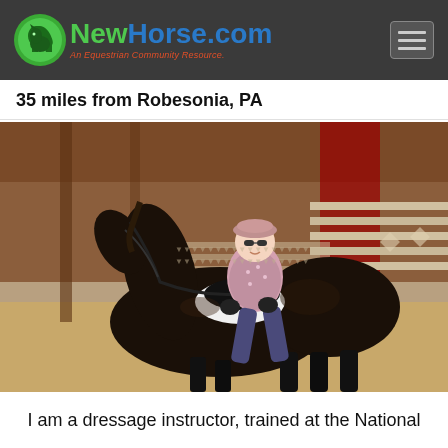NewHorse.com — An Equestrian Community Resource.
35 miles from Robesonia, PA
[Figure (photo): A woman wearing a pink cap, patterned jacket, and dark gloves sits atop a dark bay/black horse with a white saddle pad. They are in what appears to be an indoor equestrian arena with wooden bleachers and red curtains in the background. The arena floor is sandy.]
I am a dressage instructor, trained at the National